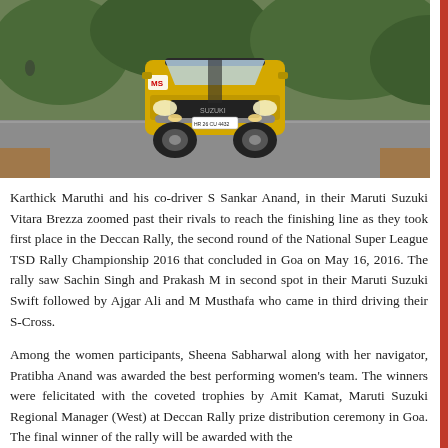[Figure (photo): A yellow Maruti Suzuki Vitara Brezza rally car (license plate HR 26 CU 4432) driving on a road during the Deccan Rally, viewed head-on, with green foliage visible in the background.]
Karthick Maruthi and his co-driver S Sankar Anand, in their Maruti Suzuki Vitara Brezza zoomed past their rivals to reach the finishing line as they took first place in the Deccan Rally, the second round of the National Super League TSD Rally Championship 2016 that concluded in Goa on May 16, 2016. The rally saw Sachin Singh and Prakash M in second spot in their Maruti Suzuki Swift followed by Ajgar Ali and M Musthafa who came in third driving their S-Cross.
Among the women participants, Sheena Sabharwal along with her navigator, Pratibha Anand was awarded the best performing women's team. The winners were felicitated with the coveted trophies by Amit Kamat, Maruti Suzuki Regional Manager (West) at Deccan Rally prize distribution ceremony in Goa. The final winner of the rally will be awarded with the